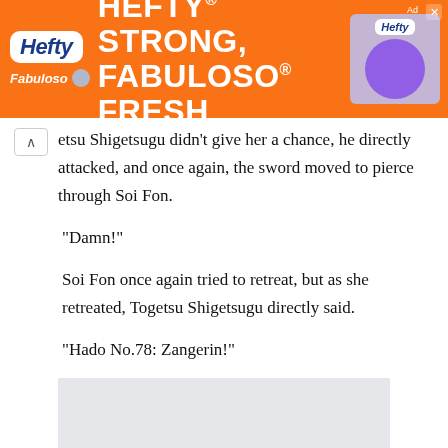[Figure (screenshot): Orange advertisement banner for Hefty and Fabuloso products with text 'HEFTY STRONG, FABULOSO FRESH']
etsu Shigetsugu didn't give her a chance, he directly attacked, and once again, the sword moved to pierce through Soi Fon.
“Damn!”
Soi Fon once again tried to retreat, but as she retreated, Togetsu Shigetsugu directly said.
“Hado No.78: Zangerin!”
[Figure (screenshot): Gray/white rectangular advertisement block at the bottom of the page]